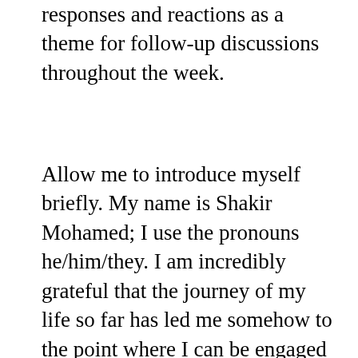responses and reactions as a theme for follow-up discussions throughout the week.
Allow me to introduce myself briefly. My name is Shakir Mohamed; I use the pronouns he/him/they. I am incredibly grateful that the journey of my life so far has led me somehow to the point where I can be engaged with you in this way. In fact, that is what Shakir means–it's an Arabic word for a grateful person. I am a proud South African and was born during the late apartheid era, and also born into the religion and traditions of Islam. Much of my experience of the city of...